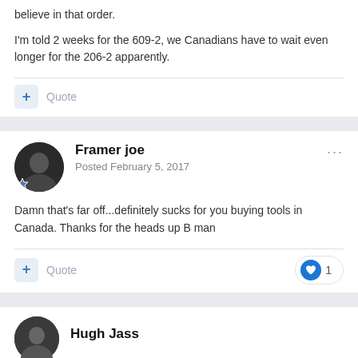believe in that order.
I'm told 2 weeks for the 609-2, we Canadians have to wait even longer for the 206-2 apparently.
Quote
Framer joe
Posted February 5, 2017
Damn that's far off...definitely sucks for you buying tools in Canada. Thanks for the heads up B man
Quote
1
Hugh Jass